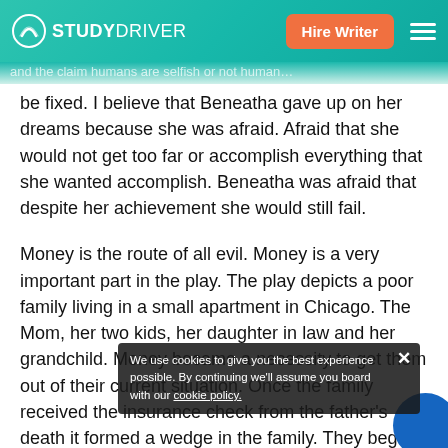STUDYDRIVER | Hire Writer
be fixed. I believe that Beneatha gave up on her dreams because she was afraid. Afraid that she would not get too far or accomplish everything that she wanted accomplish. Beneatha was afraid that despite her achievement she would still fail.
Money is the route of all evil. Money is a very important part in the play. The play depicts a poor family living in a small apartment in Chicago. The Mom, her two kids, her daughter in law and her grandchild. Money became a necessity to get them out of their current situation. Once the family received the insurance check from the father's death it formed a wedge in the family. They began to debate on who deserved the rights to use the money, who needed the money. Money was the answer to all of the conflict in the play likewise it caused the conflict. M...
We use cookies to give you the best experience possible. By continuing we'll assume you board with our cookie policy.